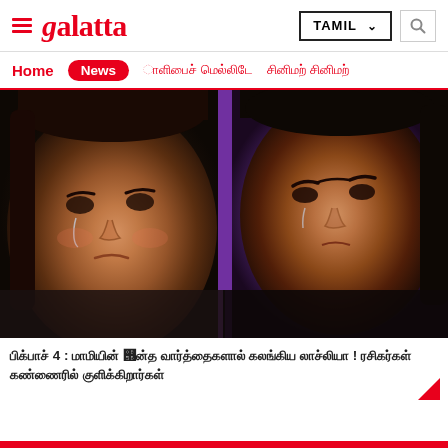Galatta — TAMIL
Home | News | [Tamil nav items]
[Figure (photo): Two women with emotional/crying expressions, side by side — a still frame from what appears to be a Tamil reality TV show (Bigg Boss 4)]
பிக்பாஸ் 4 : ஷாமியின் இந்த வார்த்தைகளால் கலங்கிய லாஸ்லியா ! ரசிகர்கள் கண்ணீரில் குளிக்கிறார்கள்